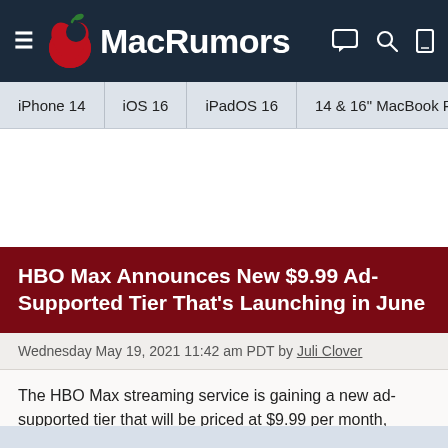MacRumors
iPhone 14  iOS 16  iPadOS 16  14 & 16" MacBook P
HBO Max Announces New $9.99 Ad-Supported Tier That's Launching in June
Wednesday May 19, 2021 11:42 am PDT by Juli Clover
The HBO Max streaming service is gaining a new ad-supported tier that will be priced at $9.99 per month, which is $5 cheaper than the $14.99 price point of a standard HBO Max subscription.